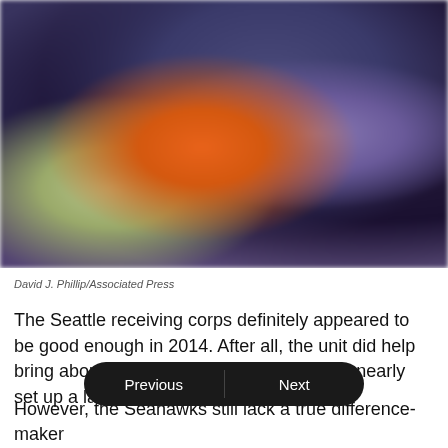[Figure (photo): Blurred sports photo showing football players, one in orange jersey, with blue/purple background and green field visible. Photo credit: David J. Phillip/Associated Press]
David J. Phillip/Associated Press
The Seattle receiving corps definitely appeared to be good enough in 2014. After all, the unit did help bring about a Super Bowl appearance and nearly set up a last-minute comeba…
However, the Seahawks still lack a true difference-maker…